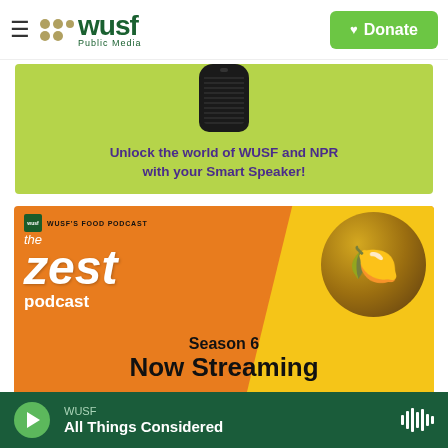WUSF Public Media | Donate
[Figure (screenshot): Green advertisement banner showing a smart speaker with text: Unlock the world of WUSF and NPR with your Smart Speaker!]
[Figure (screenshot): The Zest Podcast promotional image - WUSF's Food Podcast, Season 6 Now Streaming, showing lemons in a bowl on an orange and yellow background]
WUSF - All Things Considered (audio player bar)